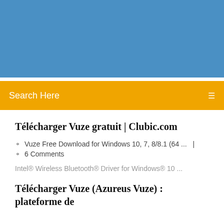[Figure (other): Blue banner/header background area]
[Figure (other): Yellow/orange search bar with 'Search Here' placeholder text and search icon]
Télécharger Vuze gratuit | Clubic.com
Vuze Free Download for Windows 10, 7, 8/8.1 (64 ...   |   6 Comments
Intel® Wireless Bluetooth® Driver for Windows® 10 ...
Télécharger Vuze (Azureus Vuze) : plateforme de